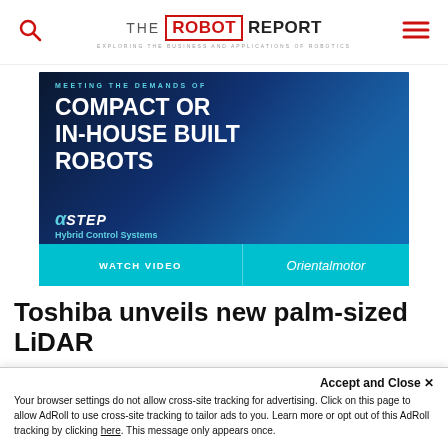THE ROBOT REPORT — Exploring the Business and Applications of Robotics
[Figure (illustration): Oriental Motor αStep Hybrid Control Systems advertisement banner with text: MEETING THE DEMANDS OF COMPACT OR IN-HOUSE BUILT ROBOTS, with WATCH VIDEO button and Oriental motor logo]
Toshiba unveils new palm-sized LiDAR
Accept and Close ×
Your browser settings do not allow cross-site tracking for advertising. Click on this page to allow AdRoll to use cross-site tracking to tailor ads to you. Learn more or opt out of this AdRoll tracking by clicking here. This message only appears once.